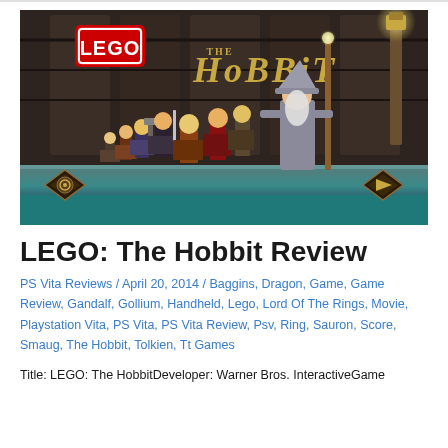[Figure (screenshot): LEGO: The Hobbit video game promotional image showing LEGO Hobbit characters (dwarves, Bilbo, Gandalf) standing on a platform, with the LEGO The Hobbit logo in the upper left. Navigation arrows visible on left and right sides of the image.]
LEGO: The Hobbit Review
PS Vita Reviews / April 20, 2014 / Baggins, Dragon, Game, Game Review, Gandalf, Gollium, Handheld, Lego, Lord Of The Rings, Movie, Playstation Vita, PS Vita, PS Vita Review, Psv, Ring, Sauron, Score, Smaug, The Hobbit, Tolkien, Tt Games
Title: LEGO: The HobbitDeveloper: Warner Bros. InteractiveGame